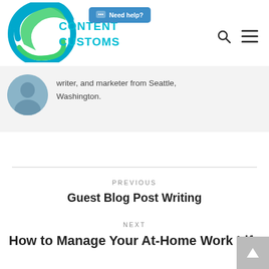[Figure (logo): Content Customs logo — circular wave graphic in teal/green/blue with 'CONTENT CUSTOMS' text in teal]
[Figure (other): Blue 'Need help?' button with speech bubble icon]
[Figure (other): Search icon (magnifying glass) and hamburger menu icon]
writer, and marketer from Seattle, Washington.
PREVIOUS
Guest Blog Post Writing
NEXT
How to Manage Your At-Home Work Life